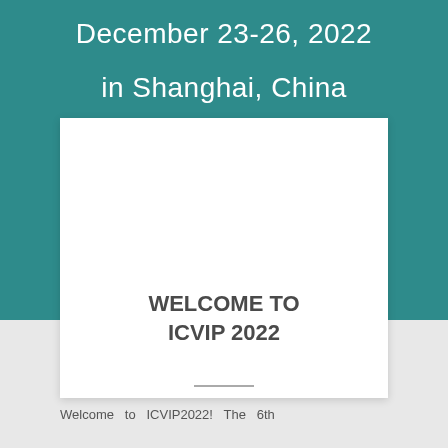December 23-26, 2022
in Shanghai, China
WELCOME TO ICVIP 2022
Welcome to ICVIP2022! The 6th